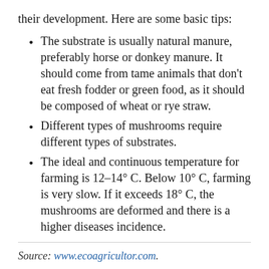their development. Here are some basic tips:
The substrate is usually natural manure, preferably horse or donkey manure. It should come from tame animals that don't eat fresh fodder or green food, as it should be composed of wheat or rye straw.
Different types of mushrooms require different types of substrates.
The ideal and continuous temperature for farming is 12–14° C. Below 10° C, farming is very slow. If it exceeds 18° C, the mushrooms are deformed and there is a higher diseases incidence.
Source: www.ecoagricultor.com.